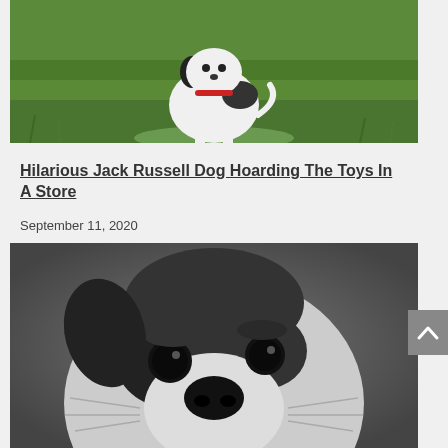[Figure (photo): A black and white Jack Russell Terrier dog sitting on green grass, wearing a red collar, photographed from a slight distance showing full body]
Hilarious Jack Russell Dog Hoarding The Toys In A Store
September 11, 2020
[Figure (photo): Close-up black and white photograph of a Jack Russell Terrier dog face, showing large dark eyes and prominent black nose against a grey background]